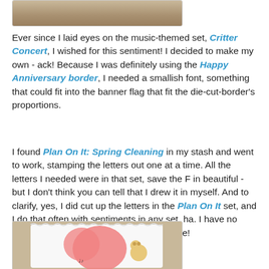[Figure (photo): Partial view of a photo showing a wooden or furry textured surface, cropped at the top of the page.]
Ever since I laid eyes on the music-themed set, Critter Concert, I wished for this sentiment! I decided to make my own - ack! Because I was definitely using the Happy Anniversary border, I needed a smallish font, something that could fit into the banner flag that fit the die-cut-border's proportions.
I found Plan On It: Spring Cleaning in my stash and went to work, stamping the letters out one at a time. All the letters I needed were in that set, save the F in beautiful - but I don't think you can tell that I drew it in myself. And to clarify, yes, I did cut up the letters in the Plan On It set, and I do that often with sentiments in any set. ha. I have no problems surgically giving my sets new life!
[Figure (photo): Photo of a handmade card featuring a pink/coral heart shape and a small bear character, placed on a wooden background. Card has a scalloped white border.]